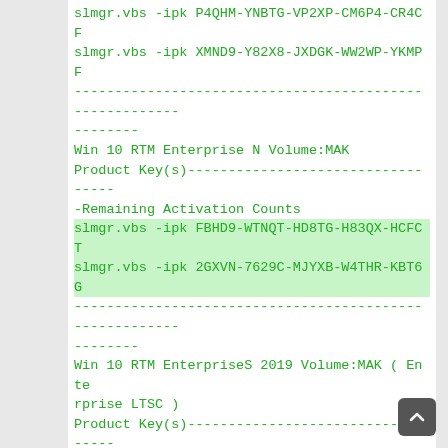slmgr.vbs -ipk P4QHM-YNBTG-VP2XP-CM6P4-CR4CF
slmgr.vbs -ipk XMND9-Y82X8-JXDGK-WW2WP-YKMPF
--------------------------------------------------------
--------
Win 10 RTM Enterprise N Volume:MAK
Product Key(s)----------------------------------
-Remaining Activation Counts
slmgr.vbs -ipk FBHD9-WTNQT-HD8TG-H83QX-HCFCT
slmgr.vbs -ipk 2GXVN-7629C-MJYXB-W4THR-KBT6G
--------------------------------------------------------
--------
Win 10 RTM EnterpriseS 2019 Volume:MAK ( Enterprise LTSC )
Product Key(s)----------------------------------
-Remaining Activation Counts
slmgr.vbs -ipk WQ946-WNPYK-W9F2V-BFMCK-RM7WP
--------------------------------------------------------
--------
Win 10 RTM EnterpriseSN 2019 Volume:MAK ( Enterprise LTSC N )
Product Key(s)----------------------------------
-Remaining Activation Counts
Not available right now.!